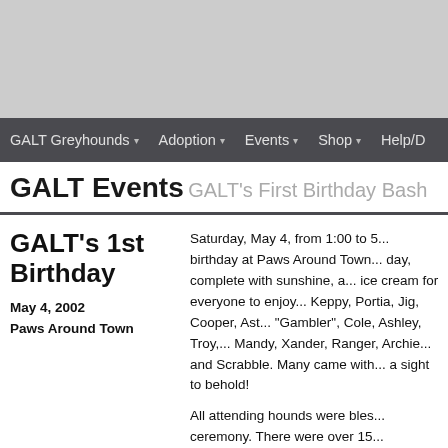[Figure (other): Gray banner image area at top of page]
GALT Greyhounds ▾   Adoption ▾   Events ▾   Shop ▾   Help/D
GALT Events  GALT's First Birthday Bash
GALT's 1st Birthday
May 4, 2002
Paws Around Town
Saturday, May 4, from 1:00 to 5... birthday at Paws Around Town... day, complete with sunshine, a... ice cream for everyone to enjoy... Keppy, Portia, Jig, Cooper, Ast... "Gambler", Cole, Ashley, Troy,... Mandy, Xander, Ranger, Archie... and Scrabble. Many came with... a sight to behold!
All attending hounds were bles... ceremony. There were over 15...